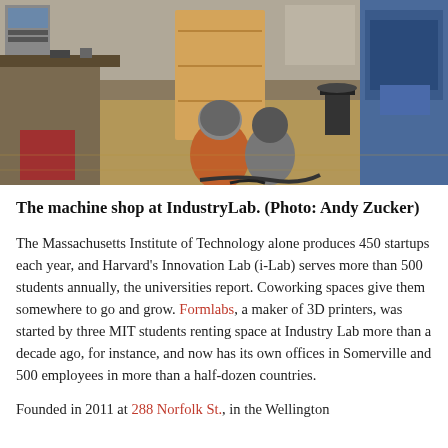[Figure (photo): A machine shop at IndustryLab showing workbenches, a shop-vac, tools, shelving units, and industrial equipment including a large blue machine on the right.]
The machine shop at IndustryLab. (Photo: Andy Zucker)
The Massachusetts Institute of Technology alone produces 450 startups each year, and Harvard's Innovation Lab (i-Lab) serves more than 500 students annually, the universities report. Coworking spaces give them somewhere to go and grow. Formlabs, a maker of 3D printers, was started by three MIT students renting space at Industry Lab more than a decade ago, for instance, and now has its own offices in Somerville and 500 employees in more than a half-dozen countries.
Founded in 2011 at 288 Norfolk St., in the Wellington